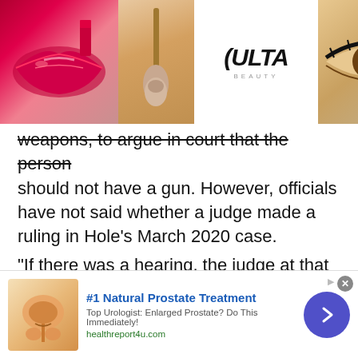[Figure (photo): Ulta Beauty advertisement banner showing makeup imagery (lips, brush, eye) with ULTA logo and SHOP NOW call to action]
weapons, to argue in court that the person should not have a gun. However, officials have not said whether a judge made a ruling in Hole's March 2020 case.
“If there was a hearing, the judge at that hearing could have ordered basically made this shooter a prohibited purchaser, which would have meant he would not have been able to legally buy any more guns. But we don’t know whether there was a court hearing. If there was a court hearing, we don’t know whether there was a finding that he
[Figure (infographic): Advertisement: #1 Natural Prostate Treatment - Top Urologist: Enlarged Prostate? Do This Immediately! healthreport4u.com]